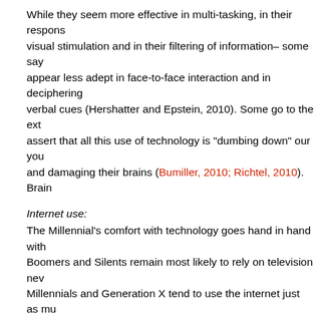While they seem more effective in multi-tasking, in their response to visual stimulation and in their filtering of information– some say they appear less adept in face-to-face interaction and in deciphering non-verbal cues (Hershatter and Epstein, 2010). Some go to the extreme to assert that all this use of technology is "dumbing down" our youth and damaging their brains (Bumiller, 2010; Richtel, 2010). Brain...
Internet use:
The Millennial's comfort with technology goes hand in hand with... Boomers and Silents remain most likely to rely on television news. Millennials and Generation X tend to use the internet just as mu... Research, 2010). Millennials are more likely (62%) to connect to... home or work than are Gen X (48%) or Boomers (35%) or Silen...
There are racial and educational differences in how Millennials... Millennials are online, only 91% of black Millennials and 73% of... This gap narrowed between 2006 and 2008 but Hispanics conti... education you have, the more likely you are to be both on the in... sites–74% of college attendees versus 47% of those not attendi... Finally, 1/3 of all entering college freshman have blogs. Millenni... DeAngelo, Sharkness, Romero, Kern, and Tran, 2008).